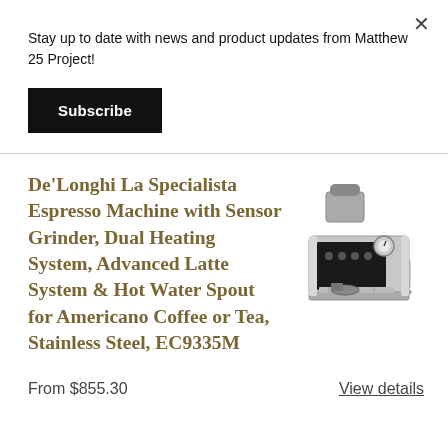Stay up to date with news and product updates from Matthew 25 Project!
Subscribe
De'Longhi La Specialista Espresso Machine with Sensor Grinder, Dual Heating System, Advanced Latte System & Hot Water Spout for Americano Coffee or Tea, Stainless Steel, EC9335M
[Figure (photo): Photo of De'Longhi La Specialista espresso machine in stainless steel/black finish with grinder on top and steam wand]
From $855.30
View details